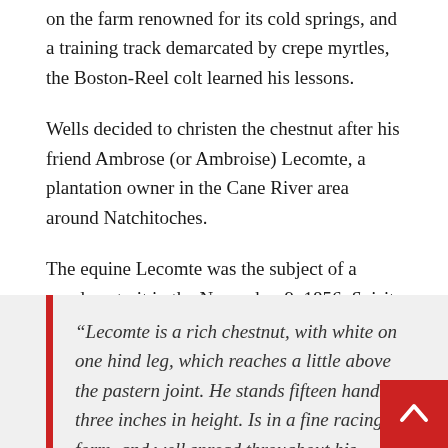on the farm renowned for its cold springs, and a training track demarcated by crepe myrtles, the Boston-Reel colt learned his lessons.
Wells decided to christen the chestnut after his friend Ambrose (or Ambroise) Lecomte, a plantation owner in the Cane River area around Natchitoches.
The equine Lecomte was the subject of a word-portrait in the November 9, 1856, Spirit of the Times:
“Lecomte is a rich chestnut, with white on one hind leg, which reaches a little above the pastern joint. He stands fifteen hands, three inches in height. Is in a fine racing form, and well spread throughout his frame, with such an abundance of bone, tendon and muscle, that he would be a useful horse for any purpose. His temper excellent; he is easily placed in a race, and yet respo promptly to the extent of his ability. He never tears